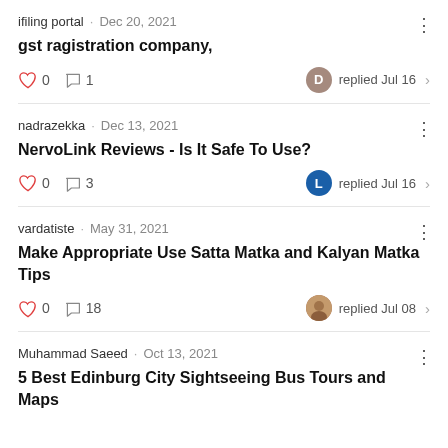ifiling portal · Dec 20, 2021
gst ragistration company,
0 likes, 1 comment, D replied Jul 16
nadrazekka · Dec 13, 2021
NervoLink Reviews - Is It Safe To Use?
0 likes, 3 comments, L replied Jul 16
vardatiste · May 31, 2021
Make Appropriate Use Satta Matka and Kalyan Matka Tips
0 likes, 18 comments, replied Jul 08
Muhammad Saeed · Oct 13, 2021
5 Best Edinburg City Sightseeing Bus Tours and Maps